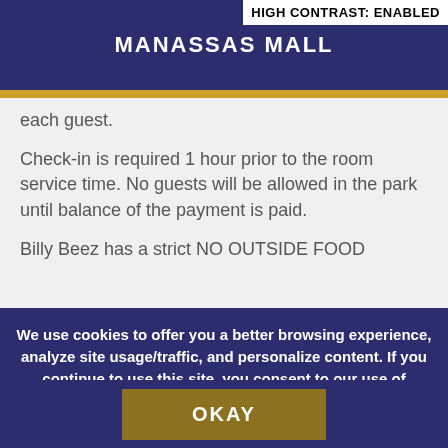MANASSAS MALL
HIGH CONTRAST: ENABLED
each guest.
Check-in is required 1 hour prior to the room service time. No guests will be allowed in the park until balance of the payment is paid.
Billy Beez has a strict NO OUTSIDE FOOD
We use cookies to offer you a better browsing experience, analyze site usage/traffic, and personalize content. If you continue to use this site, you consent to our use of cookies.
OKAY